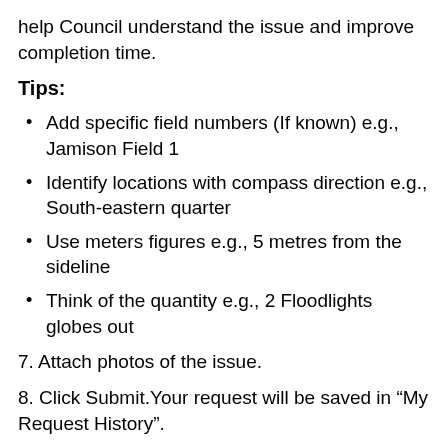help Council understand the issue and improve completion time.
Tips:
Add specific field numbers (If known) e.g., Jamison Field 1
Identify locations with compass direction e.g., South-eastern quarter
Use meters figures e.g., 5 metres from the sideline
Think of the quantity e.g., 2 Floodlights globes out
7. Attach photos of the issue.
8. Click Submit.Your request will be saved in “My Request History”.